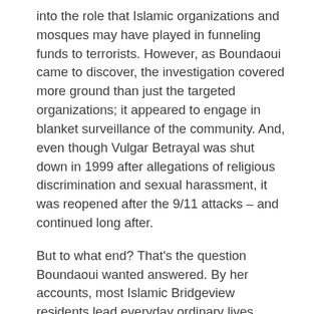into the role that Islamic organizations and mosques may have played in funneling funds to terrorists. However, as Boundaoui came to discover, the investigation covered more ground than just the targeted organizations; it appeared to engage in blanket surveillance of the community. And, even though Vulgar Betrayal was shut down in 1999 after allegations of religious discrimination and sexual harassment, it was reopened after the 9/11 attacks – and continued long after.
But to what end? That's the question Boundaoui wanted answered. By her accounts, most Islamic Bridgeview residents lead everyday ordinary lives, holding jobs, raising families and engaging in all of the other routine activities that American citizens typically do (quite the irony given that many of them are themselves American citizens). So why the widespread scrutiny?